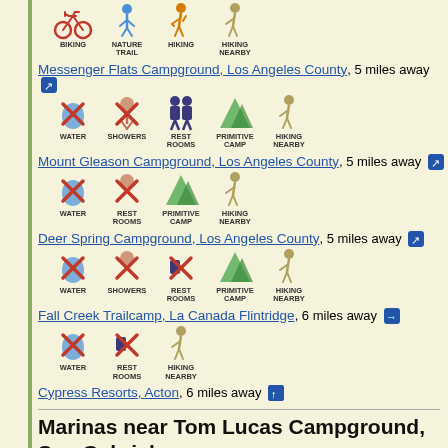[Figure (infographic): Camping amenity icons: Biking, Nature Trail, Hiking, Hiking Nearby]
Messenger Flats Campground, Los Angeles County, 5 miles away
[Figure (infographic): Camping amenity icons: Water (X), Showers (X), Rest Rooms, Primitive Camp, Hiking Nearby]
Mount Gleason Campground, Los Angeles County, 5 miles away
[Figure (infographic): Camping amenity icons: Water (X), Rest Rooms (X), Primitive Camp, Hiking Nearby]
Deer Spring Campground, Los Angeles County, 5 miles away
[Figure (infographic): Camping amenity icons: Water (X), Showers (X), Rest Rooms (X), Primitive Camp, Hiking Nearby]
Fall Creek Trailcamp, La Canada Flintridge, 6 miles away
[Figure (infographic): Camping amenity icons: Water (X), Rest Rooms (X), Hiking Nearby]
Cypress Resorts, Acton, 6 miles away
Marinas near Tom Lucas Campground, San Gabriel
Lake Powell Resorts & Marina, Los Angeles, 16 miles away